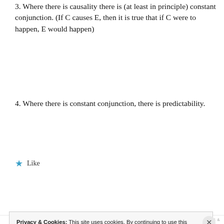3. Where there is causality there is (at least in principle) constant conjunction. (If C causes E, then it is true that if C were to happen, E would happen)
4. Where there is constant conjunction, there is predictability.
★ Like
Reply
Privacy & Cookies: This site uses cookies. By continuing to use this website, you agree to their use.
To find out more, including how to control cookies, see here:
Cookie Policy
Close and accept